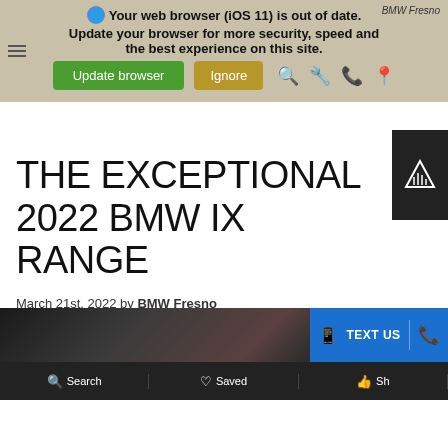Your web browser (iOS 11) is out of date. Update your browser for more security, speed and the best experience on this site.
[Figure (screenshot): Browser update warning banner with Update browser (green) and Ignore (gold) buttons, hamburger menu, and navigation icons for search, phone, and location]
THE EXCEPTIONAL 2022 BMW IX RANGE
March 21st, 2022 by BMW Fresno
Share this Post:
[Figure (screenshot): Bottom navigation bar with Search, Saved, Share, TEXT US, and phone call options]